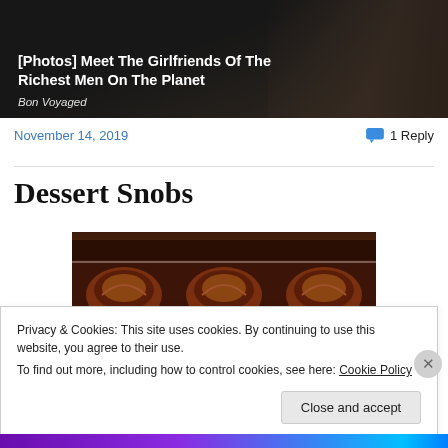[Figure (photo): Promotional image showing a couple (man in suit, woman in dress), with overlaid headline text about richest men's girlfriends and source 'Bon Voyaged']
[Photos] Meet The Girlfriends Of The Richest Men On The Planet
Bon Voyaged
November 14, 2019
1 Reply
Dessert Snobs
[Figure (photo): Close-up photograph of chocolate candies/truffles in a box with paper cups]
Privacy & Cookies: This site uses cookies. By continuing to use this website, you agree to their use.
To find out more, including how to control cookies, see here: Cookie Policy
Close and accept